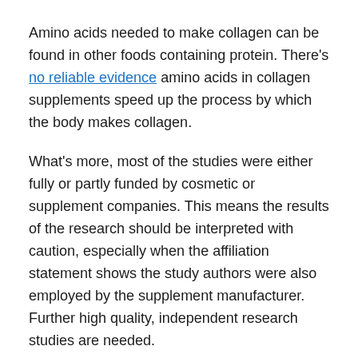Amino acids needed to make collagen can be found in other foods containing protein. There's no reliable evidence amino acids in collagen supplements speed up the process by which the body makes collagen.
What's more, most of the studies were either fully or partly funded by cosmetic or supplement companies. This means the results of the research should be interpreted with caution, especially when the affiliation statement shows the study authors were also employed by the supplement manufacturer. Further high quality, independent research studies are needed.
What is collagen and where does it come from?